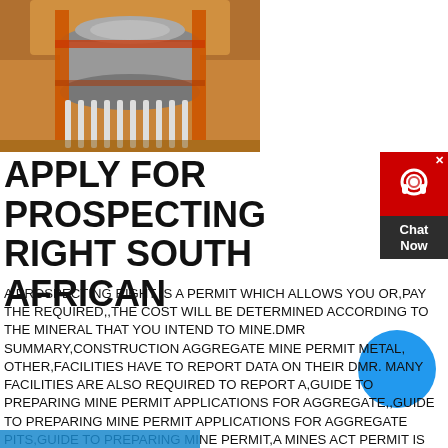[Figure (photo): Industrial mining machinery — large cylindrical crusher/mill with orange metal framework and spring suspension components in a mining facility]
APPLY FOR PROSPECTING RIGHT SOUTH AFRICAN
A PROSPECTING RIGHT IS A PERMIT WHICH ALLOWS YOU OR,PAY THE REQUIRED,,THE COST WILL BE DETERMINED ACCORDING TO THE MINERAL THAT YOU INTEND TO MINE.DMR SUMMARY,CONSTRUCTION AGGREGATE MINE PERMIT METAL, OTHER,FACILITIES HAVE TO REPORT DATA ON THEIR DMR. MANY FACILITIES ARE ALSO REQUIRED TO REPORT A,GUIDE TO PREPARING MINE PERMIT APPLICATIONS FOR AGGREGATE,,GUIDE TO PREPARING MINE PERMIT APPLICATIONS FOR AGGREGATE PITS,GUIDE TO PREPARING MINE PERMIT,A MINES ACT PERMIT IS REQUIRED WHETHER OR,